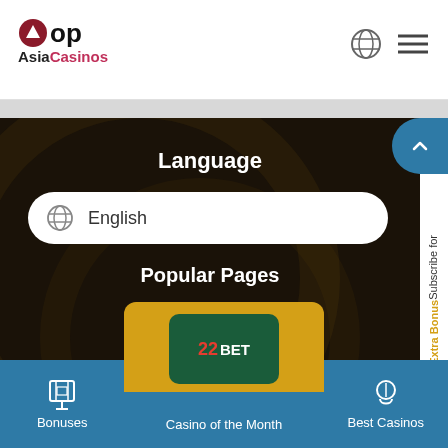Top Asia Casinos
Language
English
Popular Pages
Payment Methods
Casino Reviews
Sitemap
Subscribe for Extra Bonus
Casino of the Month
Bonuses
Best Casinos